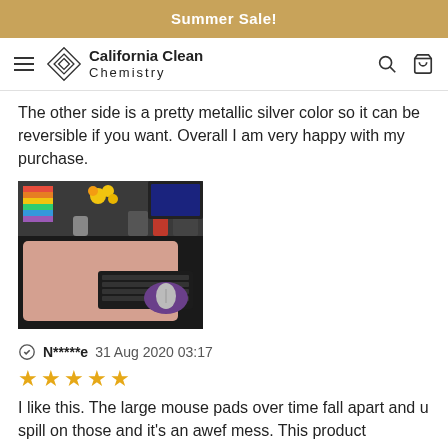Summer Sale!
California Clean Chemistry — navigation bar
The other side is a pretty metallic silver color so it can be reversible if you want. Overall I am very happy with my purchase.
[Figure (photo): Photo of a desk with a rose gold/pink desk pad, keyboard, purple mouse pad with mouse, colorful items in background including flowers and a rainbow flag decoration.]
N*****e  31 Aug 2020 03:17
★★★★★ (5 stars)
I like this. The large mouse pads over time fall apart and u spill on those and it's an awef mess. This product